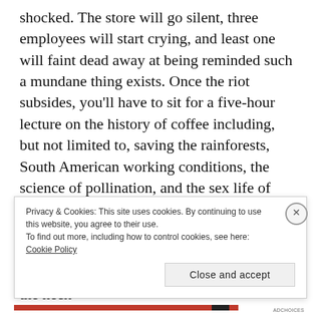shocked. The store will go silent, three employees will start crying, and least one will faint dead away at being reminded such a mundane thing exists. Once the riot subsides, you'll have to sit for a five-hour lecture on the history of coffee including, but not limited to, saving the rainforests, South American working conditions, the science of pollination, and the sex life of coffee plants complete with pornographic plant videos. By the end you'll know the difference between French, Columbian, and Pike's Roast, but you still won't know who the heck Pike is.
Privacy & Cookies: This site uses cookies. By continuing to use this website, you agree to their use.
To find out more, including how to control cookies, see here: Cookie Policy
Close and accept